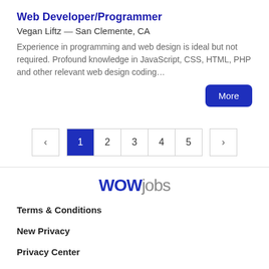Web Developer/Programmer
Vegan Liftz — San Clemente, CA
Experience in programming and web design is ideal but not required. Profound knowledge in JavaScript, CSS, HTML, PHP and other relevant web design coding…
More
< 1 2 3 4 5 >
[Figure (logo): WOWjobs logo with WOW in dark blue bold and jobs in gray]
Terms & Conditions
New Privacy
Privacy Center